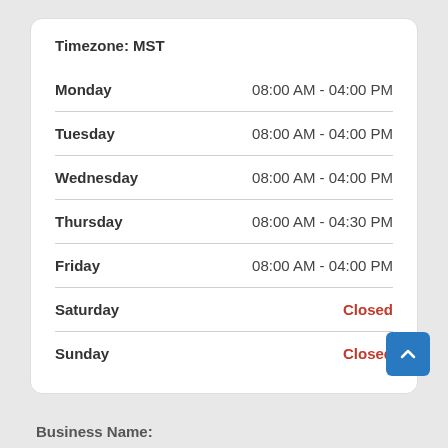| Day | Hours |
| --- | --- |
| Monday | 08:00 AM - 04:00 PM |
| Tuesday | 08:00 AM - 04:00 PM |
| Wednesday | 08:00 AM - 04:00 PM |
| Thursday | 08:00 AM - 04:30 PM |
| Friday | 08:00 AM - 04:00 PM |
| Saturday | Closed |
| Sunday | Closed |
Business Name: